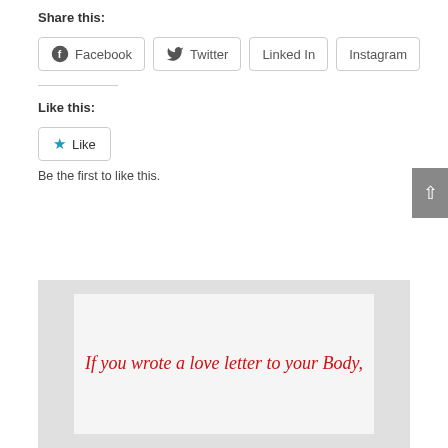Share this:
Facebook
Twitter
Linked In
Instagram
Like this:
Like
Be the first to like this.
[Figure (photo): Image with cursive red text reading 'If you wrote a love letter to your Body,' on a white card against a light gray background]